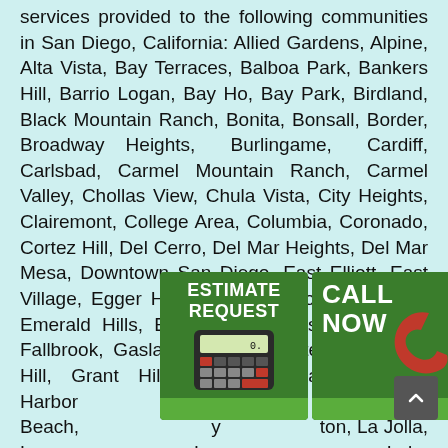services provided to the following communities in San Diego, California: Allied Gardens, Alpine, Alta Vista, Bay Terraces, Balboa Park, Bankers Hill, Barrio Logan, Bay Ho, Bay Park, Birdland, Black Mountain Ranch, Bonita, Bonsall, Border, Broadway Heights, Burlingame, Cardiff, Carlsbad, Carmel Mountain Ranch, Carmel Valley, Chollas View, Chula Vista, City Heights, Clairemont, College Area, Columbia, Coronado, Cortez Hill, Del Cerro, Del Mar Heights, Del Mar Mesa, Downtown San Diego, East Elliott, East Village, Egger Highlands, El Cajon, El Cerrito, Emerald Hills, Encanto, Encinitas, Escondido, Fallbrook, Gaslamp Quarter, Gateway, Golden Hill, Grant Hill, Grantville, Harbor Island, Harbor... Imperial Beach, ...ton, La Jolla, L... La... ...a, Lake Murray, ...co... ...l Vista,
[Figure (other): Estimate Request button with calculator image on grass background]
[Figure (other): Call Now button with red telephone image on grass background]